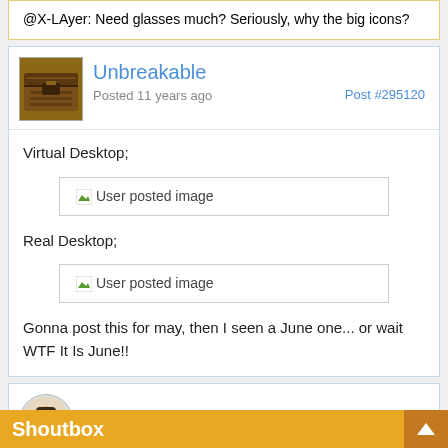@X-LAyer: Need glasses much? Seriously, why the big icons?
Unbreakable
Posted 11 years ago
Post #295120
Virtual Desktop;
[Figure (other): User posted image placeholder]
Real Desktop;
[Figure (other): User posted image placeholder]
Gonna post this for may, then I seen a June one... or wait WTF It Is June!!
Archie
Shoutbox